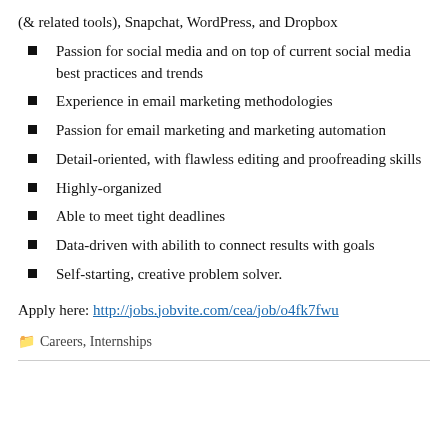(& related tools), Snapchat, WordPress, and Dropbox
Passion for social media and on top of current social media best practices and trends
Experience in email marketing methodologies
Passion for email marketing and marketing automation
Detail-oriented, with flawless editing and proofreading skills
Highly-organized
Able to meet tight deadlines
Data-driven with abilith to connect results with goals
Self-starting, creative problem solver.
Apply here: http://jobs.jobvite.com/cea/job/o4fk7fwu
Careers, Internships